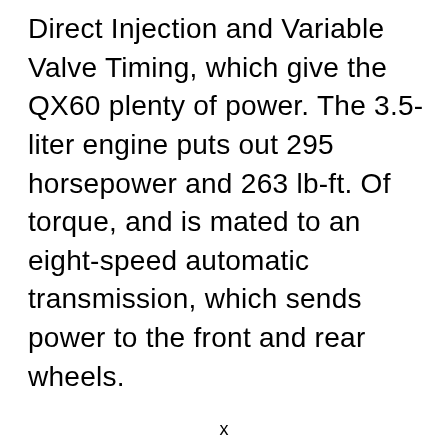Direct Injection and Variable Valve Timing, which give the QX60 plenty of power. The 3.5-liter engine puts out 295 horsepower and 263 lb-ft. Of torque, and is mated to an eight-speed automatic transmission, which sends power to the front and rear wheels.
x